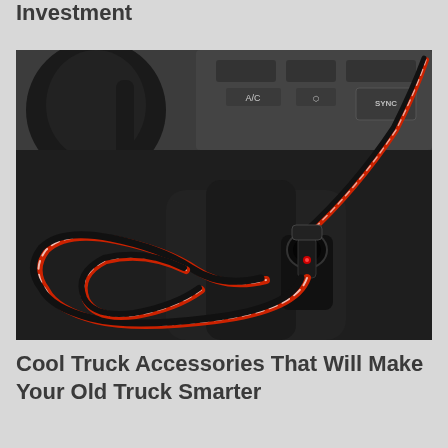Investment
[Figure (photo): Close-up photo of red and black electrical wires coiled and plugged into a car dashboard cigarette lighter/power socket, with truck dashboard controls visible in the background including A/C button and SYNC button, in a desaturated/grayscale style with the red wire retaining its color.]
Cool Truck Accessories That Will Make Your Old Truck Smarter